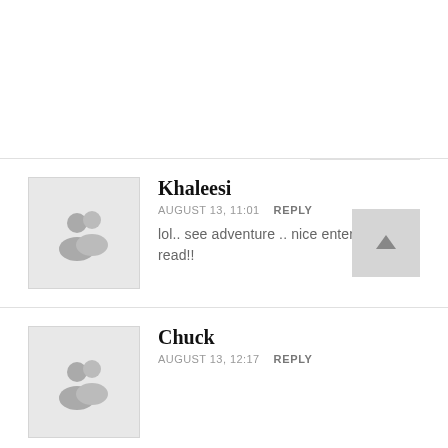Khaleesi
AUGUST 13, 11:01  REPLY
lol.. see adventure .. nice entertaining read!!
Chuck
AUGUST 13, 12:17  REPLY